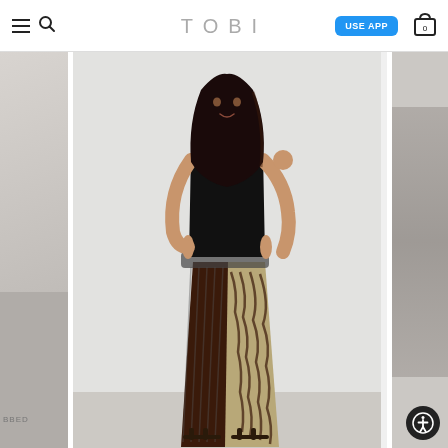TOBI — USE APP button and navigation icons
[Figure (photo): Fashion e-commerce product page for Tobi. Center image shows a female model wearing a black strapless bandeau top and wide-leg animal-print (zebra/abstract pattern) pants in brown/tan colorblock split design with strappy flat sandals, posed against a grey background. Partial images of other product views visible on left and right edges.]